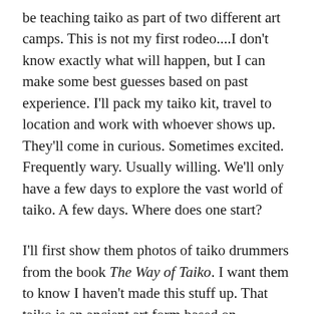be teaching taiko as part of two different art camps. This is not my first rodeo....I don't know exactly what will happen, but I can make some best guesses based on past experience. I'll pack my taiko kit, travel to location and work with whoever shows up. They'll come in curious. Sometimes excited. Frequently wary. Usually willing. We'll only have a few days to explore the vast world of taiko. A few days. Where does one start?
I'll first show them photos of taiko drummers from the book The Way of Taiko. I want them to know I haven't made this stuff up. That taiko is an ancient art form based on Japanese tradition and that even though there's not much taiko here in Indiana, there are places